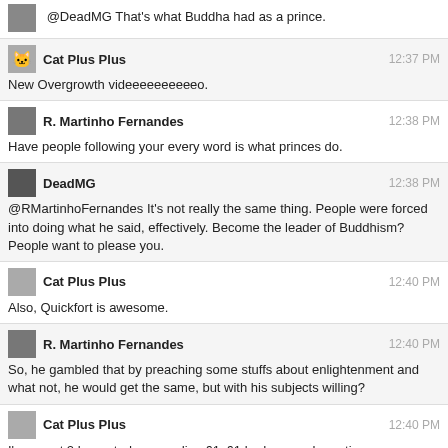@DeadMG That's what Buddha had as a prince.
Cat Plus Plus  12:37 PM
New Overgrowth videeeeeeeeeeo.
R. Martinho Fernandes  12:38 PM
Have people following your every word is what princes do.
DeadMG  12:38 PM
@RMartinhoFernandes It's not really the same thing. People were forced into doing what he said, effectively. Become the leader of Buddhism? People want to please you.
Cat Plus Plus  12:40 PM
Also, Quickfort is awesome.
R. Martinho Fernandes  12:40 PM
So, he gambled that by preaching some stuffs about enlightenment and what not, he would get the same, but with his subjects willing?
Cat Plus Plus  12:40 PM
I've spent 2 hours today encoding 61x61 bedroom schematic.
244 dorfs!
DeadMG  12:41 PM
@RMartinhoFernandes more likely, he'd just go back to being a prince if he failed, and I'm also pretty sure that being religious leader is significantly more than being a prince.
R. Martinho Fernandes  12:42 PM